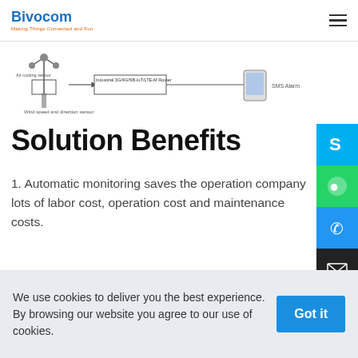Bivocom — Making Things Connected and Fun
[Figure (schematic): Wind speed and direction sensor connected to Industrial 3G/4G/NB-IoT/LTE-M router with SMS Alarm output shown]
Solution Benefits
1. Automatic monitoring saves the operation company lots of labor cost, operation cost and maintenance costs.
2. It can cover all the monitoring area and eliminate the blind spot of manual monitoring.
We use cookies to deliver you the best experience. By browsing our website you agree to our use of cookies. Got it